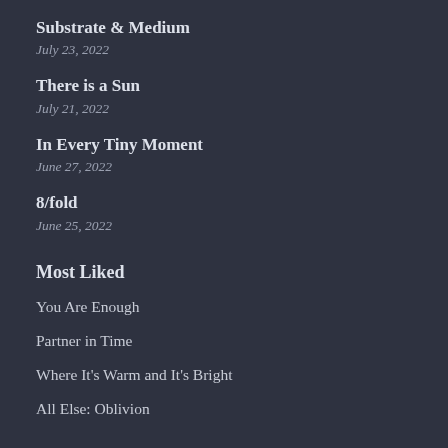Substrate & Medium
July 23, 2022
There is a Sun
July 21, 2022
In Every Tiny Moment
June 27, 2022
8/fold
June 25, 2022
Most Liked
You Are Enough
Partner in Time
Where It's Warm and It's Bright
All Else: Oblivion